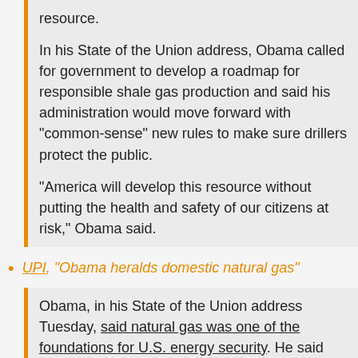resource.
In his State of the Union address, Obama called for government to develop a roadmap for responsible shale gas production and said his administration would move forward with "common-sense" new rules to make sure drillers protect the public.
"America will develop this resource without putting the health and safety of our citizens at risk," Obama said.
UPI, "Obama heralds domestic natural gas"
Obama, in his State of the Union address Tuesday, said natural gas was one of the foundations for U.S. energy security. He said there's enough natural gas in the country to meet domestic demand for 100 years but companies working to exploit those reserves must do so